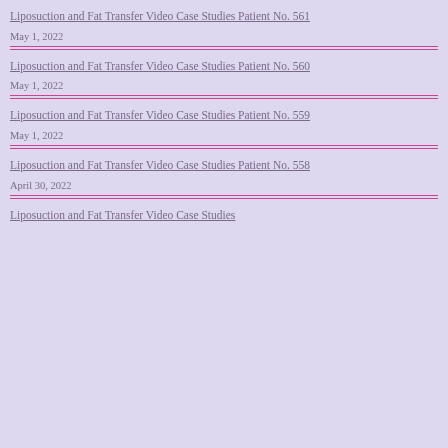Liposuction and Fat Transfer Video Case Studies Patient No. 561
May 1, 2022
Liposuction and Fat Transfer Video Case Studies Patient No. 560
May 1, 2022
Liposuction and Fat Transfer Video Case Studies Patient No. 559
May 1, 2022
Liposuction and Fat Transfer Video Case Studies Patient No. 558
April 30, 2022
Liposuction and Fat Transfer Video Case Studies Patient No. 557